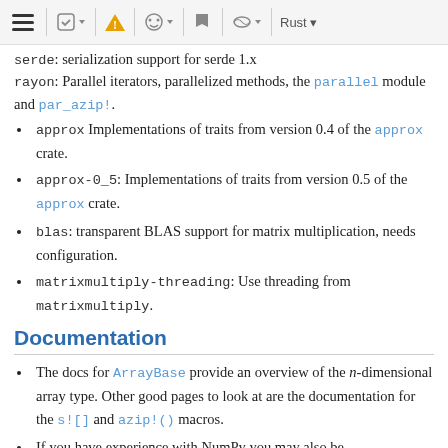Toolbar navigation area with icons
serde: serialization support for serde 1.x
rayon: Parallel iterators, parallelized methods, the parallel module and par_azip!.
approx Implementations of traits from version 0.4 of the approx crate.
approx-0_5: Implementations of traits from version 0.5 of the approx crate.
blas: transparent BLAS support for matrix multiplication, needs configuration.
matrixmultiply-threading: Use threading from matrixmultiply.
Documentation
The docs for ArrayBase provide an overview of the n-dimensional array type. Other good pages to look at are the documentation for the s![] and azip!() macros.
If you have experience with NumPy you may also be